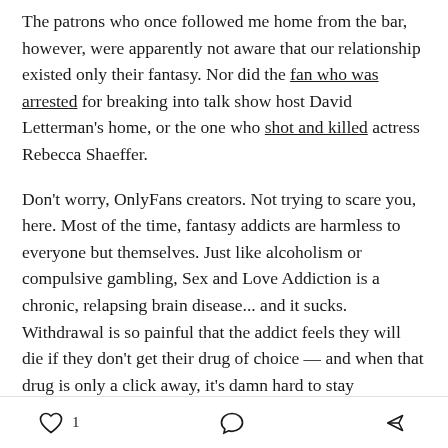The patrons who once followed me home from the bar, however, were apparently not aware that our relationship existed only their fantasy. Nor did the fan who was arrested for breaking into talk show host David Letterman's home, or the one who shot and killed actress Rebecca Shaeffer.
Don't worry, OnlyFans creators. Not trying to scare you, here. Most of the time, fantasy addicts are harmless to everyone but themselves. Just like alcoholism or compulsive gambling, Sex and Love Addiction is a chronic, relapsing brain disease... and it sucks. Withdrawal is so painful that the addict feels they will die if they don't get their drug of choice — and when that drug is only a click away, it's damn hard to stay
♡ 1  ◯  ➤